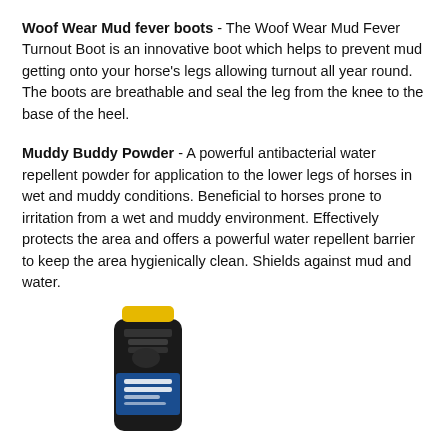Woof Wear Mud fever boots - The Woof Wear Mud Fever Turnout Boot is an innovative boot which helps to prevent mud getting onto your horse's legs allowing turnout all year round. The boots are breathable and seal the leg from the knee to the base of the heel.
Muddy Buddy Powder - A powerful antibacterial water repellent powder for application to the lower legs of horses in wet and muddy conditions. Beneficial to horses prone to irritation from a wet and muddy environment. Effectively protects the area and offers a powerful water repellent barrier to keep the area hygienically clean. Shields against mud and water.
[Figure (photo): Photo of a Muddy Buddy Powder bottle with dark body, yellow cap, and blue label]
Lincoln Mud Screen - A water resistant barrier cream for application prior to turning out in muddy and wet conditions. Contains dimethicone to actively repel mud and water, together with a combination of powerful antibacterial agents to combat bacterial